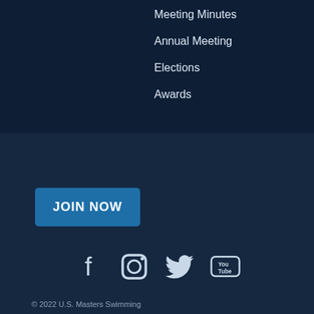Meeting Minutes
Annual Meeting
Elections
Awards
JOIN NOW
[Figure (illustration): Social media icons: Facebook, Instagram, Twitter, YouTube]
© 2022 U.S. Masters Swimming